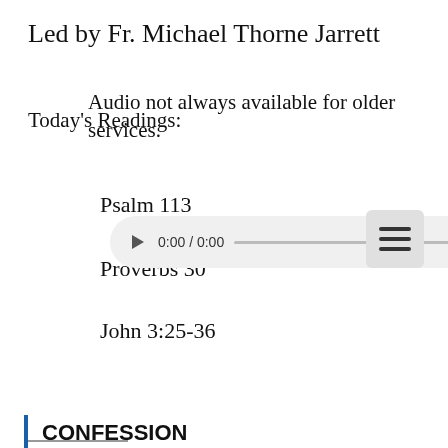Led by Fr. Michael Thorne Jarrett
Audio not always available for older services.
Today's Readings:
Psalm 113
[Figure (screenshot): HTML5 audio player showing 0:00 / 0:00 with play button, progress bar, volume icon, and more options icon]
Proverbs 30
John 3:25-36
CONFESSION